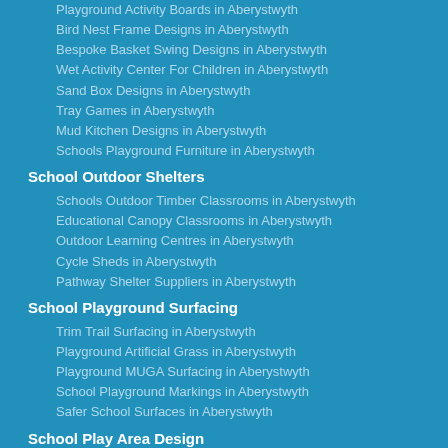Playground Activity Boards in Aberystwyth
Bird Nest Frame Designs in Aberystwyth
Bespoke Basket Swing Designs in Aberystwyth
Wet Activity Center For Children in Aberystwyth
Sand Box Designs in Aberystwyth
Tray Games in Aberystwyth
Mud Kitchen Designs in Aberystwyth
Schools Playground Furniture in Aberystwyth
School Outdoor Shelters
Schools Outdoor Timber Classrooms in Aberystwyth
Educational Canopy Classrooms in Aberystwyth
Outdoor Learning Centres in Aberystwyth
Cycle Sheds in Aberystwyth
Pathway Shelter Suppliers in Aberystwyth
School Playground Surfacing
Trim Trail Surfacing in Aberystwyth
Playground Artificial Grass in Aberystwyth
Playground MUGA Surfacing in Aberystwyth
School Playground Markings in Aberystwyth
Safer School Surfaces in Aberystwyth
School Play Area Design
Imagination Playground Installers in Aberystwyth
Children's Creative Play Areas in Aberystwyth